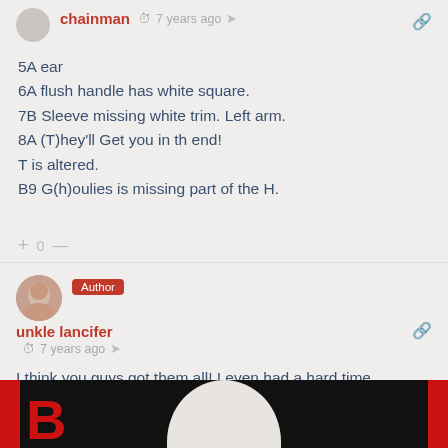chainman  7 years ago
5A ear
6A flush handle has white square.
7B Sleeve missing white trim. Left arm.
8A (T)hey'll Get you in th end!
T is altered.
B9 G(h)oulies is missing part of the H.
+ 0 —
Author
unkle lancifer  7 years ago
I think you guys got them all! I even had a hard time remembering the ear one while making the answer key!
[Figure (photo): Bottom portion showing a red border with black background, large red letter B on left, and a white egg/sphere shape in center]